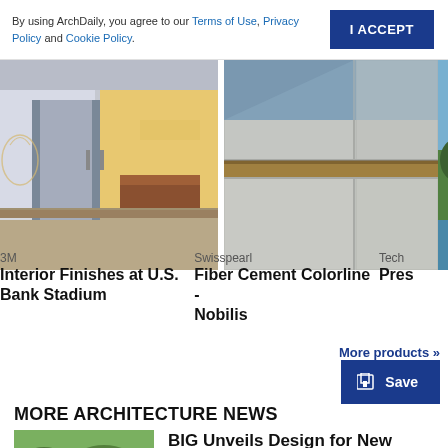By using ArchDaily, you agree to our Terms of Use, Privacy Policy and Cookie Policy.
I ACCEPT
[Figure (photo): Interior entrance of U.S. Bank Stadium with frosted glass doors and decorative etched design, reception desk visible in background]
3M
Interior Finishes at U.S. Bank Stadium
[Figure (photo): Close-up of Swisspearl fiber cement panels in light gray/beige color with horizontal metal joint strip]
Swisspearl
Fiber Cement Colorline - Nobilis
[Figure (photo): Partial view of a third product card showing water and trees]
Tech
Pres
More products »
Save
MORE ARCHITECTURE NEWS
[Figure (photo): Aerial view of green landscape/terrain]
BIG Unveils Design for New